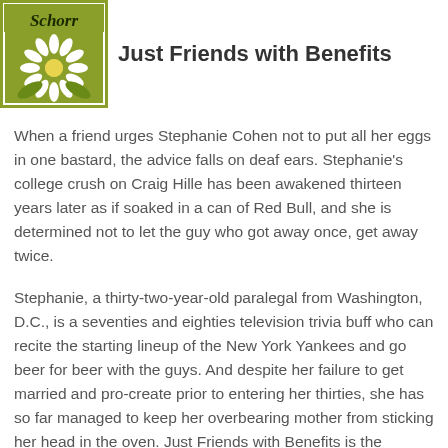[Figure (illustration): Book cover for 'Just Friends with Benefits' by Schorr, showing a daisy flower on a green background with the author name in cursive at the top]
Just Friends with Benefits
When a friend urges Stephanie Cohen not to put all her eggs in one bastard, the advice falls on deaf ears. Stephanie's college crush on Craig Hille has been awakened thirteen years later as if soaked in a can of Red Bull, and she is determined not to let the guy who got away once, get away twice.
Stephanie, a thirty-two-year-old paralegal from Washington, D.C., is a seventies and eighties television trivia buff who can recite the starting lineup of the New York Yankees and go beer for beer with the guys. And despite her failure to get married and pro-create prior to entering her thirties, she has so far managed to keep her overbearing mother from sticking her head in the oven. Just Friends with Benefits is the humorous story of Stephanie's pursuit of love, her adventures in friendship, and her journey to